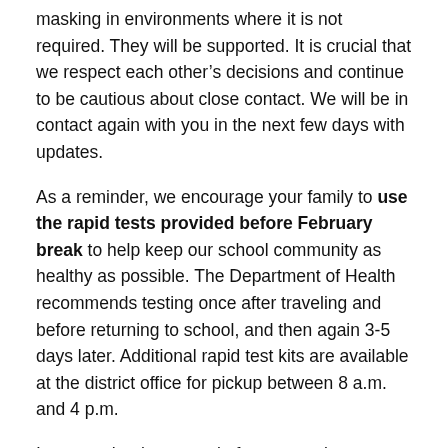masking in environments where it is not required. They will be supported. It is crucial that we respect each other's decisions and continue to be cautious about close contact. We will be in contact again with you in the next few days with updates.
As a reminder, we encourage your family to use the rapid tests provided before February break to help keep our school community as healthy as possible. The Department of Health recommends testing once after traveling and before returning to school, and then again 3-5 days later. Additional rapid test kits are available at the district office for pickup between 8 a.m. and 4 p.m.
I want to thank you again for your patience, understanding, and support as we have navigated through this pandemic. This has been a long, difficult